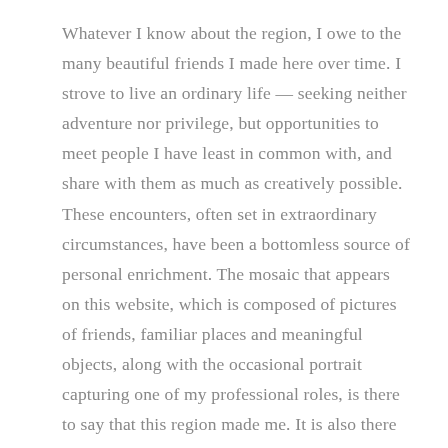Whatever I know about the region, I owe to the many beautiful friends I made here over time. I strove to live an ordinary life — seeking neither adventure nor privilege, but opportunities to meet people I have least in common with, and share with them as much as creatively possible. These encounters, often set in extraordinary circumstances, have been a bottomless source of personal enrichment. The mosaic that appears on this website, which is composed of pictures of friends, familiar places and meaningful objects, along with the occasional portrait capturing one of my professional roles, is there to say that this region made me. It is also there to suggest the immense pleasure it has been, through thick and thin, to let it teach and transform me.